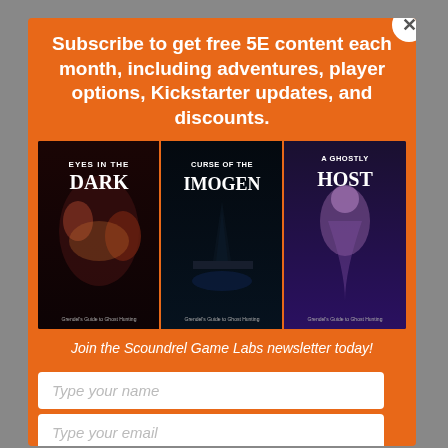Subscribe to get free 5E content each month, including adventures, player options, Kickstarter updates, and discounts.
[Figure (illustration): Three fantasy tabletop RPG book covers side by side: 'Eyes in the Dark', 'Curse of the Imogen', and 'A Ghostly Host', all part of Grendel's Guide to Ghost Hunting series.]
Join the Scoundrel Game Labs newsletter today!
Type your name
Type your email